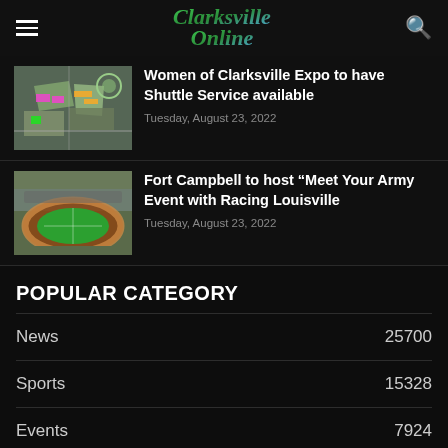Clarksville Online
[Figure (screenshot): Aerial map view of expo venue with colored parking/areas marked in pink, green, and orange]
Women of Clarksville Expo to have Shuttle Service available
Tuesday, August 23, 2022
[Figure (photo): Aerial photo of Fort Campbell stadium with running track]
Fort Campbell to host “Meet Your Army Event with Racing Louisville
Tuesday, August 23, 2022
POPULAR CATEGORY
News  25700
Sports  15328
Events  7924